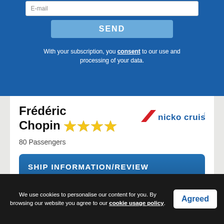E-mail
SEND
With your subscription, you consent to our use and processing of your data.
Frédéric Chopin ⭐⭐⭐⭐
[Figure (logo): nicko cruises logo with red parallelogram and text]
80 Passengers
SHIP INFORMATION/REVIEW
DECK PLAN
CURRENT POSITION
We use cookies to personalise our content for you. By browsing our website you agree to our cookie usage policy.